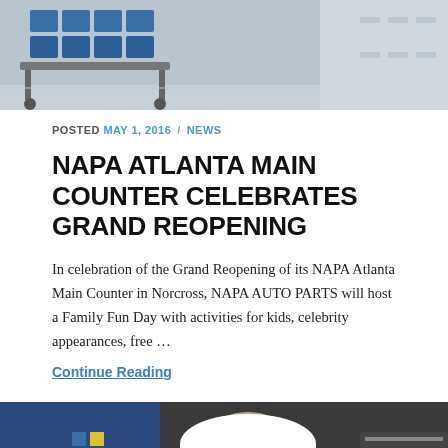[Figure (photo): Top portion of a photo showing blue parts/products on a cart in an auto parts store, gray floor visible]
POSTED MAY 1, 2016 / NEWS
NAPA ATLANTA MAIN COUNTER CELEBRATES GRAND REOPENING
In celebration of the Grand Reopening of its NAPA Atlanta Main Counter in Norcross, NAPA AUTO PARTS will host a Family Fun Day with activities for kids, celebrity appearances, free …
Continue Reading
[Figure (photo): Bottom photo showing a NASCAR driver wearing a NAPA-branded cap and jacket, smiling, in a garage setting with another person in a NAPA uniform in the background]